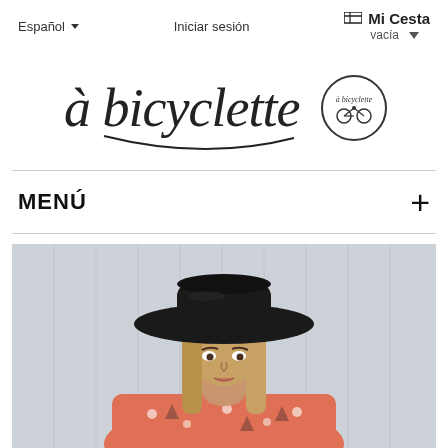Español  |  Iniciar sesión  |  Mi Cesta  vacía
[Figure (logo): à bicyclette script logo with circular emblem]
MENÚ
[Figure (photo): Young woman wearing a wide-brim black hat and an orange/coral patterned blouse, photographed against a light grey paneled wall background]